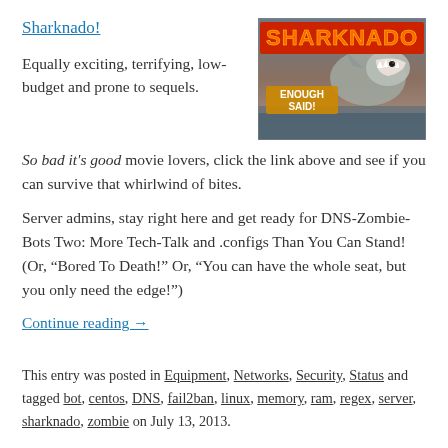Sharknado!
[Figure (photo): Sharknado movie poster with red title text and shark image, tagline 'ENOUGH SAID!']
Equally exciting, terrifying, low-budget and prone to sequels.
So bad it's good movie lovers, click the link above and see if you can survive that whirlwind of bites.
Server admins, stay right here and get ready for DNS-Zombie-Bots Two: More Tech-Talk and .configs Than You Can Stand!  (Or, “Bored To Death!” Or, “You can have the whole seat, but you only need the edge!”)
Continue reading →
This entry was posted in Equipment, Networks, Security, Status and tagged bot, centos, DNS, fail2ban, linux, memory, ram, regex, server, sharknado, zombie on July 13, 2013.